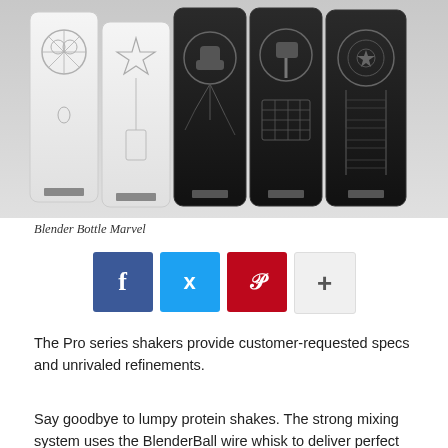[Figure (photo): Five Marvel-themed BlenderBottle Pro series shakers arranged side by side — two white bottles (Spider-Man, Captain Marvel) and three black bottles (Hulk, Thor, Captain America) with respective hero logos engraved on them, plus two wire BlenderBall whisk balls in front.]
Blender Bottle Marvel
[Figure (infographic): Social sharing buttons row: Facebook (blue), Twitter (light blue), Pinterest (red), and a plus/more button (light gray).]
The Pro series shakers provide customer-requested specs and unrivaled refinements.
Say goodbye to lumpy protein shakes. The strong mixing system uses the BlenderBall wire whisk to deliver perfect